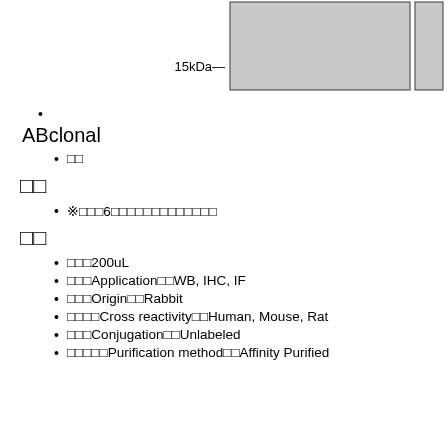[Figure (other): Western blot image showing bands at 15kDa marker with two gel lane regions (gray boxes)]
ABclonal
□□
□□
※□□□6□□□□□□□□□□□□□□□
□□
□□□200uL
□□□Application□□WB, IHC, IF
□□□Origin□□Rabbit
□□□□Cross reactivity□□Human, Mouse, Rat
□□□Conjugation□□Unlabeled
□□□□□Purification method□□Affinity Purified